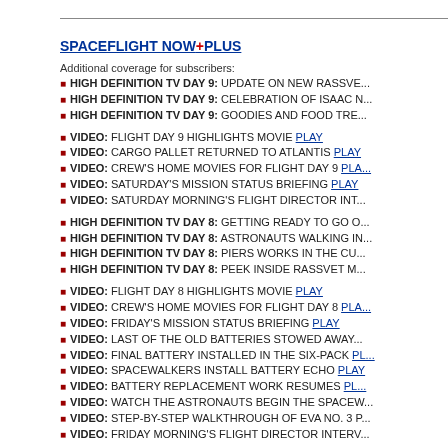SPACEFLIGHT NOW+PLUS
Additional coverage for subscribers:
HIGH DEFINITION TV DAY 9: UPDATE ON NEW RASSVE...
HIGH DEFINITION TV DAY 9: CELEBRATION OF ISAAC...
HIGH DEFINITION TV DAY 9: GOODIES AND FOOD TRE...
VIDEO: FLIGHT DAY 9 HIGHLIGHTS MOVIE PLAY
VIDEO: CARGO PALLET RETURNED TO ATLANTIS PLAY
VIDEO: CREW'S HOME MOVIES FOR FLIGHT DAY 9 PLAY
VIDEO: SATURDAY'S MISSION STATUS BRIEFING PLAY
VIDEO: SATURDAY MORNING'S FLIGHT DIRECTOR INT...
HIGH DEFINITION TV DAY 8: GETTING READY TO GO C...
HIGH DEFINITION TV DAY 8: ASTRONAUTS WALKING IN...
HIGH DEFINITION TV DAY 8: PIERS WORKS IN THE CU...
HIGH DEFINITION TV DAY 8: PEEK INSIDE RASSVET M...
VIDEO: FLIGHT DAY 8 HIGHLIGHTS MOVIE PLAY
VIDEO: CREW'S HOME MOVIES FOR FLIGHT DAY 8 PLAY
VIDEO: FRIDAY'S MISSION STATUS BRIEFING PLAY
VIDEO: LAST OF THE OLD BATTERIES STOWED AWAY...
VIDEO: FINAL BATTERY INSTALLED IN THE SIX-PACK PL...
VIDEO: SPACEWALKERS INSTALL BATTERY ECHO PLAY
VIDEO: BATTERY REPLACEMENT WORK RESUMES PL...
VIDEO: WATCH THE ASTRONAUTS BEGIN THE SPACEW...
VIDEO: STEP-BY-STEP WALKTHROUGH OF EVA NO. 3 P...
VIDEO: FRIDAY MORNING'S FLIGHT DIRECTOR INTERV...
HIGH DEFINITION TV DAY 7: STATION'S NEWEST MOD...
HIGH DEFINITION TV DAY 7: GETTING READY TO WALK...
HIGH DEFINITION TV DAY 7: ATLANTIS' COMMANDER A...
HIGH DEFINITION TV DAY 7: CHATTING WITH STATION...
VIDEO: FLIGHT DAY 7 HIGHLIGHTS MOVIE PLAY
VIDEO: CREW'S HOME MOVIES FOR FLIGHT DAY 7 PLAY
VIDEO: THURSDAY'S MISSION STATUS BRIEFING PLAY
VIDEO: ASSOCIATED PRESS, FOX AND CBS INTERVIEW...
VIDEO: THURSDAY MORNING'S FLIGHT DIRECTOR INT...